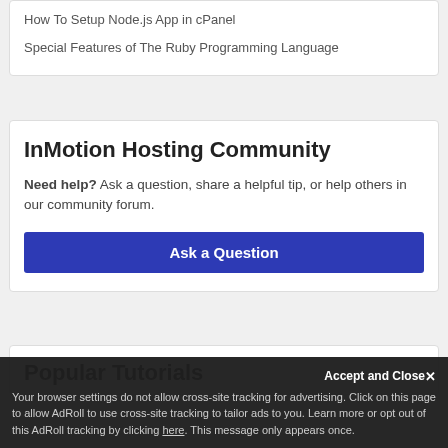How To Setup Node.js App in cPanel
Special Features of The Ruby Programming Language
InMotion Hosting Community
Need help? Ask a question, share a helpful tip, or help others in our community forum.
Ask a Question
Popular Tutorials
Your browser settings do not allow cross-site tracking for advertising. Click on this page to allow AdRoll to use cross-site tracking to tailor ads to you. Learn more or opt out of this AdRoll tracking by clicking here. This message only appears once.